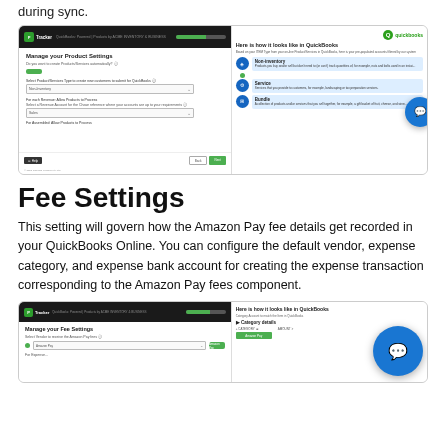during sync.
[Figure (screenshot): Screenshot showing a two-panel interface: left panel shows 'Manage your Product Settings' with dropdowns for product/service types including Non-Inventory and Sales. Right panel shows QuickBooks types including Non-inventory, Service, and Bundle options with descriptions.]
Fee Settings
This setting will govern how the Amazon Pay fee details get recorded in your QuickBooks Online. You can configure the default vendor, expense category, and expense bank account for creating the expense transaction corresponding to the Amazon Pay fees component.
[Figure (screenshot): Screenshot showing 'Manage your Fee Settings' interface with Amazon Pay vendor selection, alongside a QuickBooks panel showing category account details and category details section.]